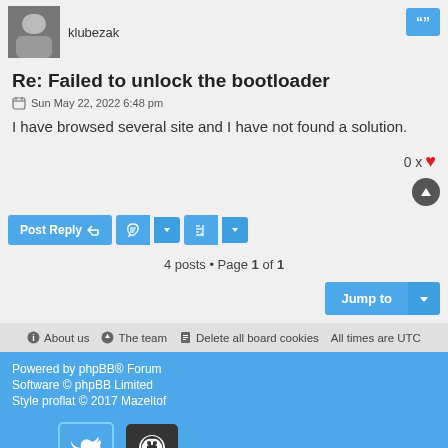klubezak
Re: Failed to unlock the bootloader
Sun May 22, 2022 6:48 pm
I have browsed several site and I have not found a solution.
0 x ♥
Post Reply  Tools  Sort
4 posts • Page 1 of 1
Jump to
About us  The team  Delete all board cookies  All times are UTC
Powered by phpBB® Forum Software © phpBB Limited
Style proflat © 2017 Mazeltof